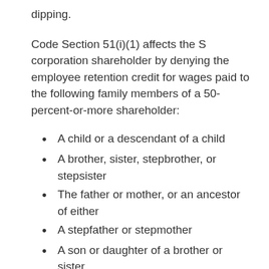dipping.
Code Section 51(i)(1) affects the S corporation shareholder by denying the employee retention credit for wages paid to the following family members of a 50-percent-or-more shareholder:
A child or a descendant of a child
A brother, sister, stepbrother, or stepsister
The father or mother, or an ancestor of either
A stepfather or stepmother
A son or daughter of a brother or sister